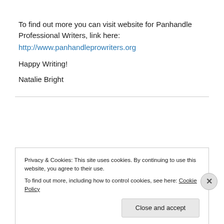To find out more you can visit website for Panhandle Professional Writers, link here:
http://www.panhandleprowriters.org
Happy Writing!
Natalie Bright
Privacy & Cookies: This site uses cookies. By continuing to use this website, you agree to their use.
To find out more, including how to control cookies, see here: Cookie Policy